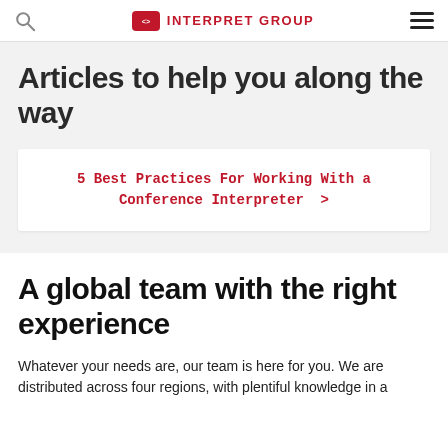INTERPRET GROUP
Articles to help you along the way
5 Best Practices For Working With a Conference Interpreter >
A global team with the right experience
Whatever your needs are, our team is here for you. We are distributed across four regions, with plentiful knowledge in a